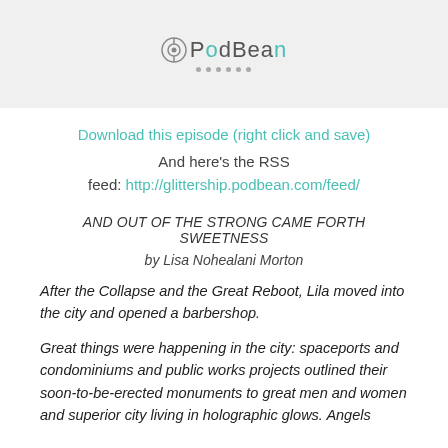[Figure (logo): PodBean logo with dots below]
Download this episode (right click and save)
And here's the RSS feed: http://glittership.podbean.com/feed/
AND OUT OF THE STRONG CAME FORTH SWEETNESS
by Lisa Nohealani Morton
After the Collapse and the Great Reboot, Lila moved into the city and opened a barbershop.
Great things were happening in the city: spaceports and condominiums and public works projects outlined their soon-to-be-erected monuments to great men and women and superior city living in holographic glows. Angels